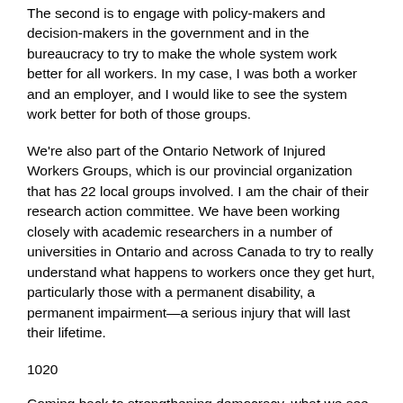The second is to engage with policy-makers and decision-makers in the government and in the bureaucracy to try to make the whole system work better for all workers. In my case, I was both a worker and an employer, and I would like to see the system work better for both of those groups.
We're also part of the Ontario Network of Injured Workers Groups, which is our provincial organization that has 22 local groups involved. I am the chair of their research action committee. We have been working closely with academic researchers in a number of universities in Ontario and across Canada to try to really understand what happens to workers once they get hurt, particularly those with a permanent disability, a permanent impairment—a serious injury that will last their lifetime.
1020
Coming back to strengthening democracy, what we see are growing disparities in society. We see them clearly with injured workers. I lost my left arm in a work accident back in